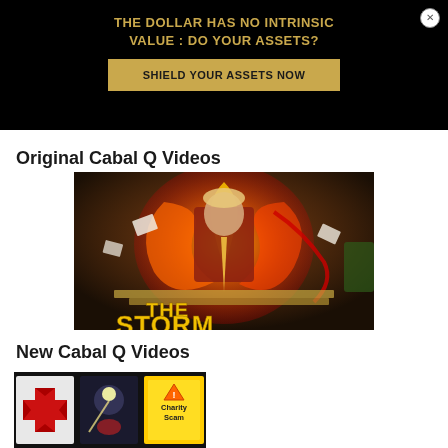[Figure (infographic): Black advertisement banner with gold text and gold button. Title: THE DOLLAR HAS NO INTRINSIC VALUE : DO YOUR ASSETS? Button: SHIELD YOUR ASSETS NOW. Close X button in top right.]
Original Cabal Q Videos
[Figure (illustration): Dramatic illustration titled 'THE STORM' showing a man in a suit surrounded by fire/energy swirls with flying papers.]
New Cabal Q Videos
[Figure (illustration): Strip of three thumbnail images on a dark/black background showing various conspiracy-related imagery including a red cross emblem, a figure with a light, and a yellow charity scam sign.]